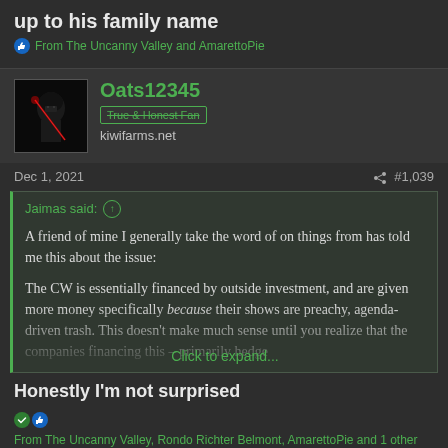up to his family name
From The Uncanny Valley and AmarettoPie
Oats12345
kiwifarms.net
Dec 1, 2021  #1,039
Jaimas said: ↑ A friend of mine I generally take the word of on things from has told me this about the issue: The CW is essentially financed by outside investment, and are given more money specifically because their shows are preachy, agenda-driven trash. This doesn't make much sense until you realize that the companies financing this – primarily hedge Click to expand...
Honestly I'm not surprised
From The Uncanny Valley, Rondo Richter Belmont, AmarettoPie and 1 other person